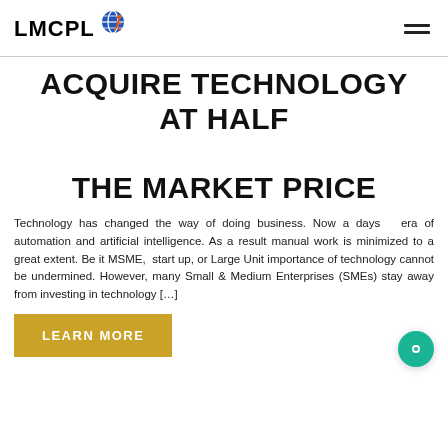LMCPL [logo with figure icon]
ACQUIRE TECHNOLOGY AT HALF THE MARKET PRICE
Technology has changed the way of doing business. Now a days  era of automation and artificial intelligence. As a result manual work is minimized to a great extent. Be it MSME,  start up, or Large Unit importance of technology cannot be undermined. However, many Small & Medium Enterprises (SMEs) stay away from investing in technology [...]
LEARN MORE